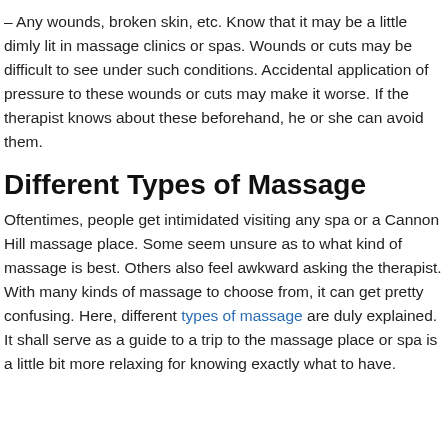– Any wounds, broken skin, etc. Know that it may be a little dimly lit in massage clinics or spas. Wounds or cuts may be difficult to see under such conditions. Accidental application of pressure to these wounds or cuts may make it worse. If the therapist knows about these beforehand, he or she can avoid them.
Different Types of Massage
Oftentimes, people get intimidated visiting any spa or a Cannon Hill massage place. Some seem unsure as to what kind of massage is best. Others also feel awkward asking the therapist. With many kinds of massage to choose from, it can get pretty confusing. Here, different types of massage are duly explained. It shall serve as a guide to a trip to the massage place or spa is a little bit more relaxing for knowing exactly what to have.